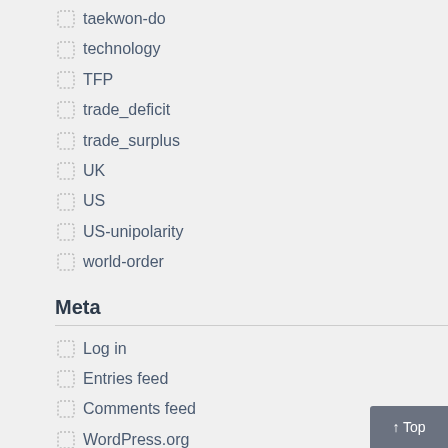taekwon-do
technology
TFP
trade_deficit
trade_surplus
UK
US
US-unipolarity
world-order
Meta
Log in
Entries feed
Comments feed
WordPress.org
Poverty and Inequality – You Choose
Sorry, there are no polls available at the moment.
Polls Archive